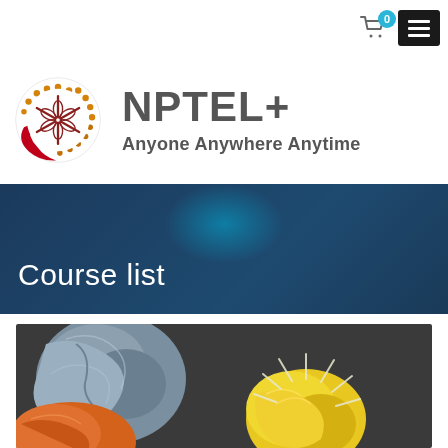[Figure (logo): NPTEL+ logo with circular ornamental emblem in orange and red, and text 'NPTEL+' with tagline 'Anyone Anywhere Anytime']
Course list
[Figure (photo): Dark background photo showing crumpled paper balls - grey/blue on left, orange bottom left, and a yellow crumpled ball with chalk-drawn light rays suggesting a lightbulb idea concept]